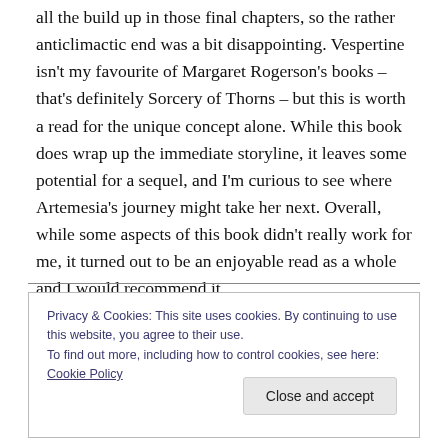all the build up in those final chapters, so the rather anticlimactic end was a bit disappointing. Vespertine isn't my favourite of Margaret Rogerson's books – that's definitely Sorcery of Thorns – but this is worth a read for the unique concept alone. While this book does wrap up the immediate storyline, it leaves some potential for a sequel, and I'm curious to see where Artemesia's journey might take her next. Overall, while some aspects of this book didn't really work for me, it turned out to be an enjoyable read as a whole and I would recommend it.
Privacy & Cookies: This site uses cookies. By continuing to use this website, you agree to their use.
To find out more, including how to control cookies, see here: Cookie Policy
Close and accept